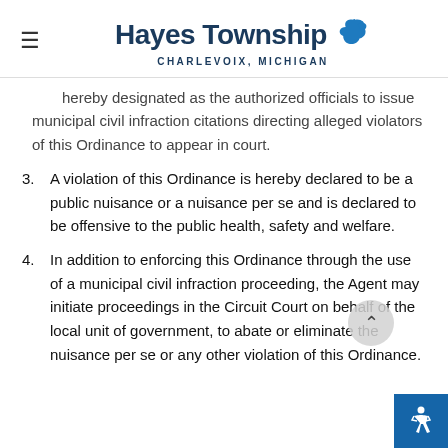Hayes Township — CHARLEVOIX, MICHIGAN
hereby designated as the authorized officials to issue municipal civil infraction citations directing alleged violators of this Ordinance to appear in court.
3. A violation of this Ordinance is hereby declared to be a public nuisance or a nuisance per se and is declared to be offensive to the public health, safety and welfare.
4. In addition to enforcing this Ordinance through the use of a municipal civil infraction proceeding, the Agent may initiate proceedings in the Circuit Court on behalf of the local unit of government, to abate or eliminate the nuisance per se or any other violation of this Ordinance.